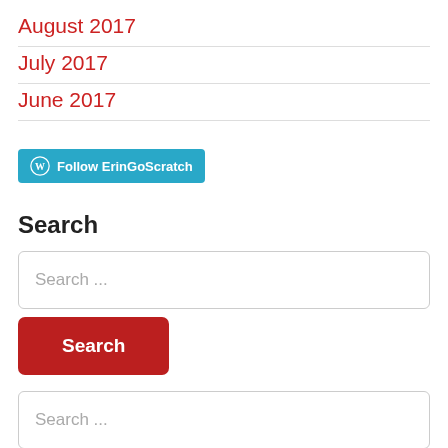August 2017
July 2017
June 2017
[Figure (other): Follow ErinGoScratch button with WordPress logo, teal/cyan background]
Search
Search ... (input field)
Search (button)
Search ... (input field)